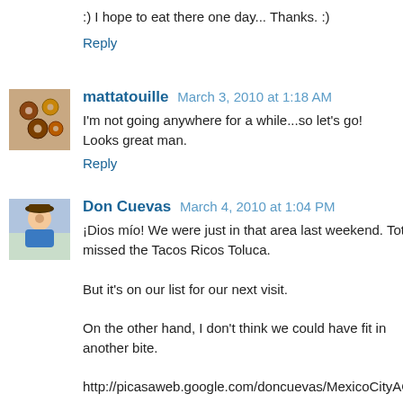:) I hope to eat there one day... Thanks. :)
Reply
mattatouille  March 3, 2010 at 1:18 AM
I'm not going anywhere for a while...so let's go! Looks great man.
Reply
Don Cuevas  March 4, 2010 at 1:04 PM
¡Dios mío! We were just in that area last weekend. Totally missed the Tacos Ricos Toluca.
But it's on our list for our next visit.
On the other hand, I don't think we could have fit in another bite.
http://picasaweb.google.com/doncuevas/MexicoCityAGastr...